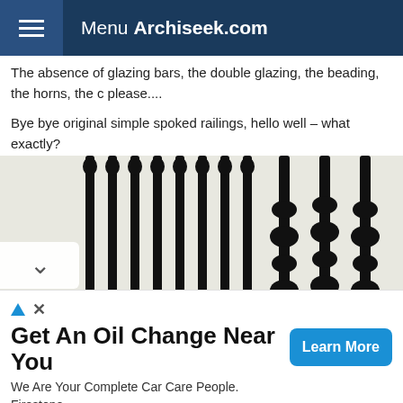Menu Archiseek.com
The absence of glazing bars, the double glazing, the beading, the horns, the c please....
Bye bye original simple spoked railings, hello well – what exactly?
[Figure (photo): Close-up photograph of ornate black metal railings with decorative spindles, showing both plain vertical bars on the left and elaborate turned/beaded balusters on the right, with a white wall and steps visible in the background.]
Get An Oil Change Near You
We Are Your Complete Car Care People.
Firestone